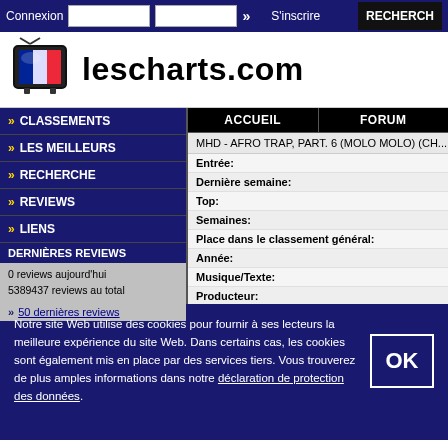Connexion   S'inscrire   RECHERCHE
[Figure (logo): lescharts.com logo with French flag TV icon]
» CLASSEMENTS
» LES MEILLEURS
» RECHERCHE
» REVIEWS
» LIENS
DERNIÈRES REVIEWS
0 reviews aujourd'hui
5389437 reviews au total
» 50 dernières reviews
ACCUEIL   FORUM
MHD - AFRO TRAP, PART. 6 (MOLO MOLO) (CH...
| Label | Value |
| --- | --- |
| Entrée: |  |
| Dernière semaine: |  |
| Top: |  |
| Semaines: |  |
| Place dans le classement général: |  |
| Année: |  |
| Musique/Texte: |  |
| Producteur: |  |
| Dans d'autres pays: |  |
Notre site Web utilise des cookies pour fournir à ses lecteurs la meilleure expérience du site Web. Dans certains cas, les cookies sont également mis en place par des services tiers. Vous trouverez de plus amples informations dans notre déclaration de protection des données.